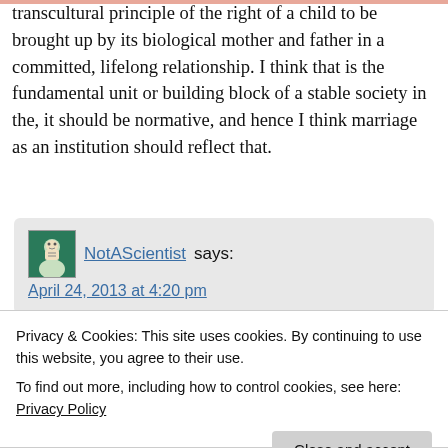transcultural principle of the right of a child to be brought up by its biological mother and father in a committed, lifelong relationship. I think that is the fundamental unit or building block of a stable society in the, it should be normative, and hence I think marriage as an institution should reflect that.
NotAScientist says: April 24, 2013 at 4:20 pm
"the right of a child to be brought up by its
Privacy & Cookies: This site uses cookies. By continuing to use this website, you agree to their use. To find out more, including how to control cookies, see here: Privacy Policy
committed, lifelong relationship with the